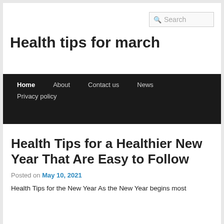Search
Health tips for march
Home  About  Contact us  News  Privacy policy
Health Tips for a Healthier New Year That Are Easy to Follow
Posted on May 10, 2021
Health Tips for the New Year As the New Year begins most